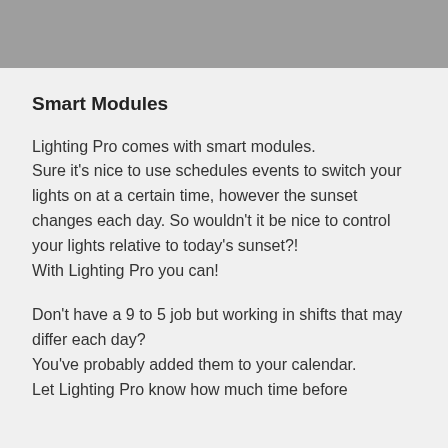Smart Modules
Lighting Pro comes with smart modules. Sure it's nice to use schedules events to switch your lights on at a certain time, however the sunset changes each day. So wouldn't it be nice to control your lights relative to today's sunset?!
With Lighting Pro you can!
Don't have a 9 to 5 job but working in shifts that may differ each day?
You've probably added them to your calendar.
Let Lighting Pro know how much time before